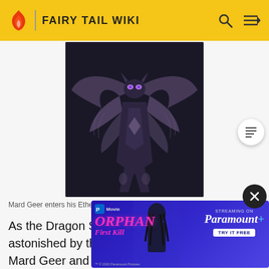FAIRY TAIL WIKI
[Figure (illustration): Mard Geer in his Etherious Form — a dark winged demonic figure with large bat-like wings spread wide, standing against a dark background]
Mard Geer enters his Etherious Form
As the Dragon Slayers and Mard Geer are astonished by this new power, Gray attacks Mard Geer and manages to inflict la... y is knocke... Geer reveals... ity for power. Sienna, however, proves himself to be less than
[Figure (screenshot): Advertisement overlay for Orphan: First Kill streaming on Paramount+, with Try It Free button]